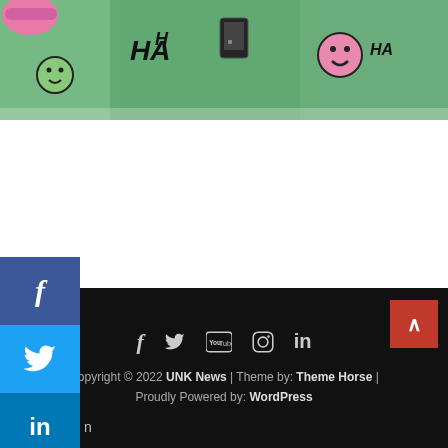[Figure (photo): Photo of people wearing green and pink shirts at a sorority Bid Day event, with smiley face graphics visible on clothing]
UNK sororities welcome new members at Bid Day
August 18, 2022 / Erika Pritchard
[Figure (screenshot): Social media share buttons: Facebook, Twitter, LinkedIn, and Facebook Like button showing count of 1]
[Figure (infographic): Dark gray content area below article]
Copyright © 2022 UNK News  |  Theme by: Theme Horse  |  Proudly Powered by: WordPress